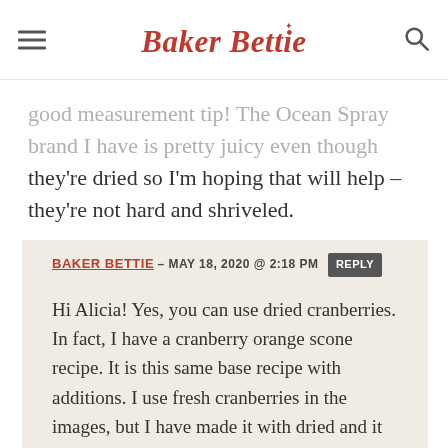Baker Bettie
good measurement tip! The Ocean Spray brand I have is pretty juicy even though they're dried so I'm hoping that will help – they're not hard and shriveled.
BAKER BETTIE – MAY 18, 2020 @ 2:18 PM  REPLY

Hi Alicia! Yes, you can use dried cranberries. In fact, I have a cranberry orange scone recipe. It is this same base recipe with additions. I use fresh cranberries in the images, but I have made it with dried and it also works well!